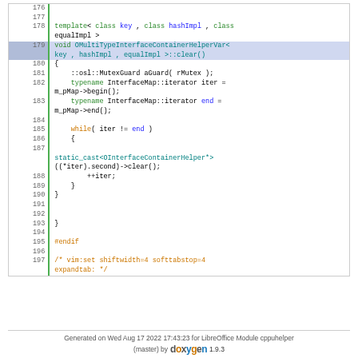[Figure (screenshot): Source code listing showing lines 176-197 of a C++ file with syntax highlighting, displaying a template function OMultiTypeInterfaceContainerHelperVar::clear() implementation]
Generated on Wed Aug 17 2022 17:43:23 for LibreOffice Module cppuhelper
(master) by doxygen 1.9.3